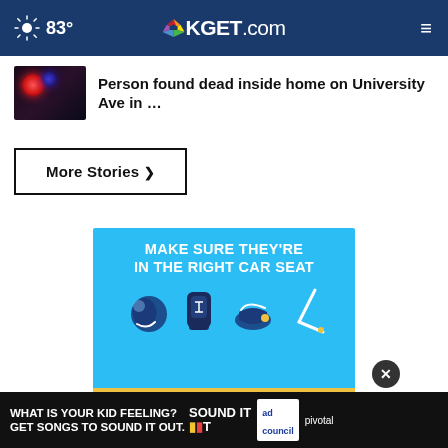83° | KGET.com
Person found dead inside home on University Ave in …
More Stories ▶
[Figure (infographic): Car seat safety advertisement: blue background with text 'MAKE SURE THEY'RE IN THE RIGHT CAR SEAT' and icons of different child car seat types. Yellow button at bottom reading 'The Right Seat >']
[Figure (infographic): Bottom advertisement banner: black background with text 'WHAT IS YOUR KID FEELING? GET SONGS TO SOUND IT OUT.' with Sound It Out logo, Ad Council logo, and Pivotal branding]